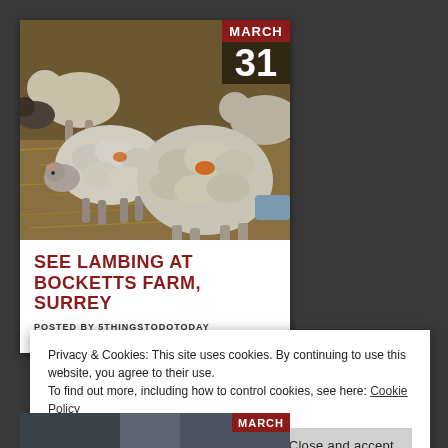[Figure (photo): Photograph of sheep (lambs and ewes) on straw bedding in a farm barn. A red date badge in the top-right corner shows MARCH / 31.]
SEE LAMBING AT BOCKETTS FARM, SURREY
POSTED BY 5THINGSTODOTODAY
Privacy & Cookies: This site uses cookies. By continuing to use this website, you agree to their use.
To find out more, including how to control cookies, see here: Cookie Policy
Close and accept
[Figure (photo): Partial view of another article card at bottom of page with MARCH date badge visible.]